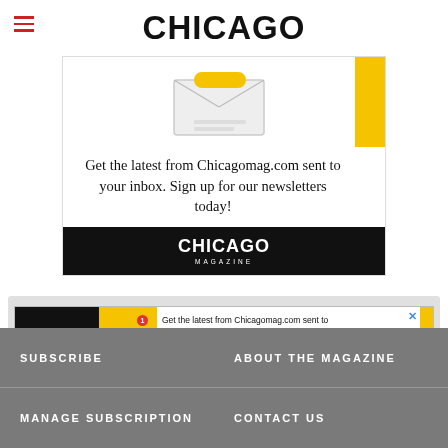CHICAGO
[Figure (infographic): Chicago Magazine newsletter signup advertisement with email icon, yellow sidebar, text: Get the latest from Chicagomag.com sent to your inbox. Sign up for our newsletters today! with Chicago Magazine logo footer]
[Figure (infographic): Small banner ad: Chicago Magazine logo, email icon with notification badge, text: Get the latest from Chicagomag.com sent to your inbox. Sign up for our newsletters today!, Subscribe button, yellow right stripe, X close button]
SUBSCRIBE
ABOUT THE MAGAZINE
MANAGE SUBSCRIPTION
CONTACT US